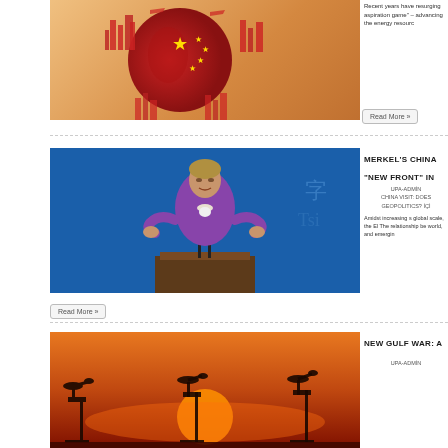[Figure (illustration): China globe illustration with red silhouette of city/buildings around a globe showing China flag with yellow stars, on orange-tan gradient background]
Recent years have resurging aspiration game" – advancing the energy resourc
[Figure (photo): Angela Merkel in purple jacket speaking at podium with microphones, blue background with Chinese characters]
MERKEL'S CHINA "NEW FRONT" IN
UPA-ADMİN
CHINA VISIT: DOES GEOPOLITICS? İÇİ
Amidst increasing s global scale, the El The relationship be world, and emergin
Read More »
Read More »
[Figure (photo): Oil pump jacks silhouetted against orange-red sunset sky]
NEW GULF WAR: A
UPA-ADMİN